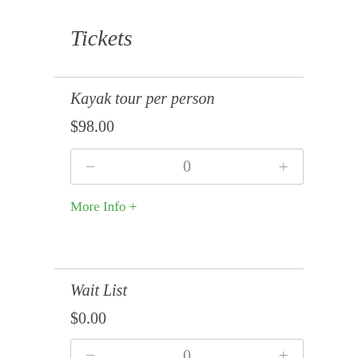Tickets
Kayak tour per person
$98.00
More Info +
Wait List
$0.00